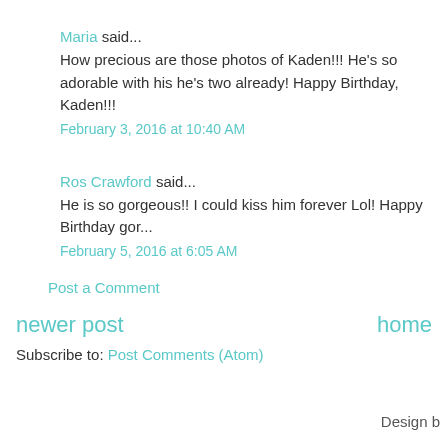Maria said... How precious are those photos of Kaden!!! He's so adorable with his... he's two already! Happy Birthday, Kaden!!!
February 3, 2016 at 10:40 AM
Ros Crawford said... He is so gorgeous!! I could kiss him forever Lol! Happy Birthday gor...
February 5, 2016 at 6:05 AM
Post a Comment
newer post
home
Subscribe to: Post Comments (Atom)
Design b...